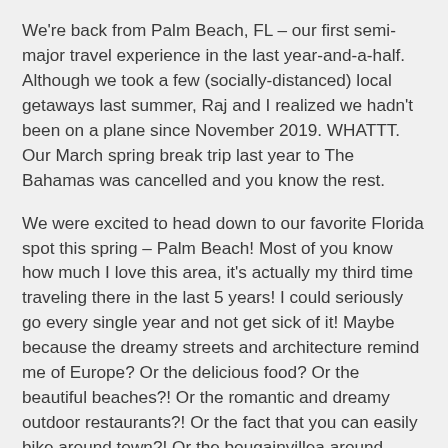We're back from Palm Beach, FL – our first semi-major travel experience in the last year-and-a-half. Although we took a few (socially-distanced) local getaways last summer, Raj and I realized we hadn't been on a plane since November 2019. WHATTT. Our March spring break trip last year to The Bahamas was cancelled and you know the rest.
We were excited to head down to our favorite Florida spot this spring – Palm Beach! Most of you know how much I love this area, it's actually my third time traveling there in the last 5 years! I could seriously go every single year and not get sick of it! Maybe because the dreamy streets and architecture remind me of Europe? Or the delicious food? Or the beautiful beaches?! Or the romantic and dreamy outdoor restaurants?! Or the fact that you can easily bike around town?! Or the bougainvillea around every single corner?!?! It's literally my DREAM spot and you don't have to as much as utter the words and I'm sold. You